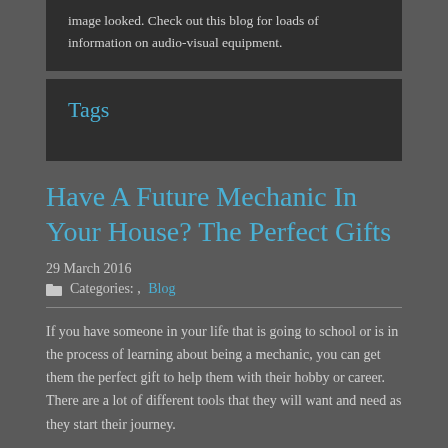image looked. Check out this blog for loads of information on audio-visual equipment.
Tags
Have A Future Mechanic In Your House? The Perfect Gifts
29 March 2016
Categories: , Blog
If you have someone in your life that is going to school or is in the process of learning about being a mechanic, you can get them the perfect gift to help them with their hobby or career. There are a lot of different tools that they will want and need as they start their journey.
You want them to have tools that can help them learn how to work on automobiles hands on and tools that they can use at home. Here are a few